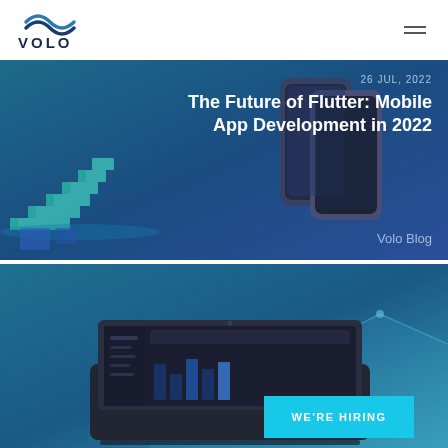VOLO
[Figure (screenshot): Blog card with 3D illustration of teal staircase and dark smartphone mockups on a blue gradient background. Date: 26 JUL, 2022. Title: The Future of Flutter: Mobile App Development in 2022. Attribution: Volo Blog.]
[Figure (screenshot): Second blog card with a dark laptop/dashboard mockup on a blue gradient background, with a cyan 'WE'RE HIRING' banner overlay in the bottom right.]